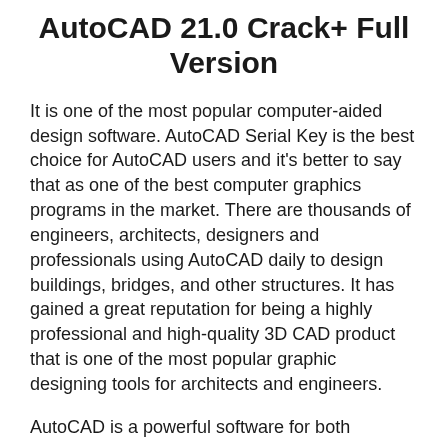AutoCAD 21.0 Crack+ Full Version
It is one of the most popular computer-aided design software. AutoCAD Serial Key is the best choice for AutoCAD users and it's better to say that as one of the best computer graphics programs in the market. There are thousands of engineers, architects, designers and professionals using AutoCAD daily to design buildings, bridges, and other structures. It has gained a great reputation for being a highly professional and high-quality 3D CAD product that is one of the most popular graphic designing tools for architects and engineers.
AutoCAD is a powerful software for both